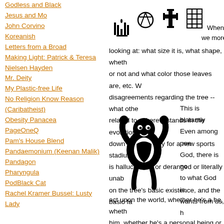Godless and Black
Jesus and Mo
John Corvino
Koreanish
Letters from a Broad
Making Light: Patrick & Teresa Nielsen Hayden
Mr. Deity
My Plastic-free Life
No Religion Know Reason (Caribatheist)
Obesity Panacea
PageOneQ
Pam's House Blend
Pandaemonium (Keenan Malik)
Pandagon
Pharyngula
PodBlack Cat
Rachel Kramer Bussel: Lusty Lady
[Figure (illustration): Religious symbols icons row at top right]
When different we more or less looking at: what size it is, what shape, whether or not and what color those leaves are, etc. W disagreements regarding the tree -- what othe related to, where it stands in the evolutionary down to make way for a new sports stadium, is hallucinating or deranged or literally unab on the tree's basic existence, and the basic fa
[Figure (illustration): Black and white illustration of a figure with arms raised]
This is blatantly Even among pee God, there is no to what God is, wants from us, h act upon the world, whether he's a he, wheth him, whether he's a personal being or a diffu